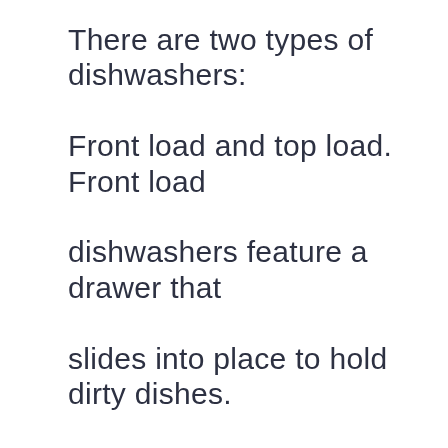There are two types of dishwashers: Front load and top load. Front load dishwashers feature a drawer that slides into place to hold dirty dishes. Top load dishwashers have a door that opens to reveal a tub where dirty dishes sit until they are washed. Most dishwashers have a timer that lets you set how long each cycle takes. Most